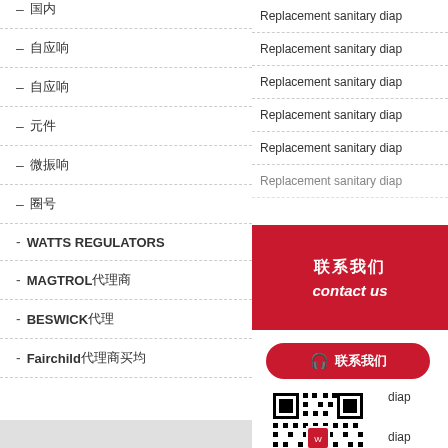– [CJK]
– [CJK]
– [CJK]
– [CJK]
– [CJK]
– [CJK]
- WATTS REGULATORS
- MAGTROL[CJK]
- BESWICK[CJK]
- Fairchild[CJK]
Replacement sanitary diap
Replacement sanitary diap
Replacement sanitary diap
Replacement sanitary diap
Replacement sanitary diap
Replacement sanitary diap
[Figure (other): Red contact us popup banner with Chinese text and italic 'contact us']
[Figure (other): Red rounded button with headset icon and Chinese text]
[Figure (other): QR code image]
1
9 5
[CJK link text]